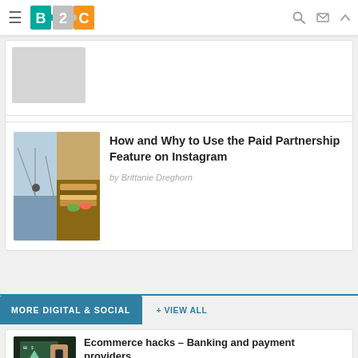B2C
[Figure (screenshot): Partial article thumbnail placeholder (gray rectangle)]
How and Why to Use the Paid Partnership Feature on Instagram
by Brittanie Dreghorn
MORE DIGITAL & SOCIAL   + VIEW ALL
Ecommerce hacks – Banking and payment providers